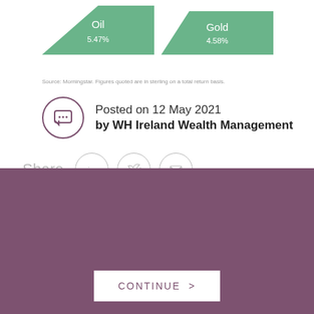[Figure (bar-chart): Oil and Gold performance]
Source: Morningstar. Figures quoted are in sterling on a total return basis.
Posted on 12 May 2021 by WH Ireland Wealth Management
Share
By continuing to use this website you will be agreeing to the website Terms and Conditions and Privacy and Cookies Policies.
CONTINUE >